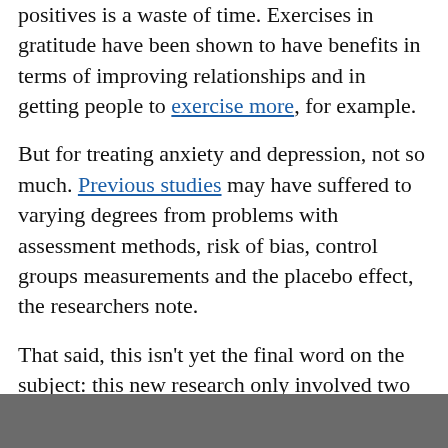positives is a waste of time. Exercises in gratitude have been shown to have benefits in terms of improving relationships and in getting people to exercise more, for example.
But for treating anxiety and depression, not so much. Previous studies may have suffered to varying degrees from problems with assessment methods, risk of bias, control groups measurements and the placebo effect, the researchers note.
That said, this isn't yet the final word on the subject: this new research only involved two clinical samples, and only five studies that included an analysis of anxiety. What's more, it